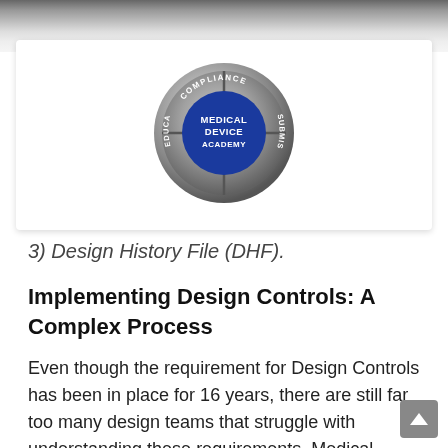[Figure (logo): Medical Device Academy logo — circular badge with silver ring, blue center, text: COMPLIANCE, EDUCATION, SUBMISSIONS, MEDICAL DEVICE ACADEMY]
3) Design History File (DHF).
Implementing Design Controls: A Complex Process
Even though the requirement for Design Controls has been in place for 16 years, there are still far too many design teams that struggle with understanding these requirements. Medical device regulations are complex, but design